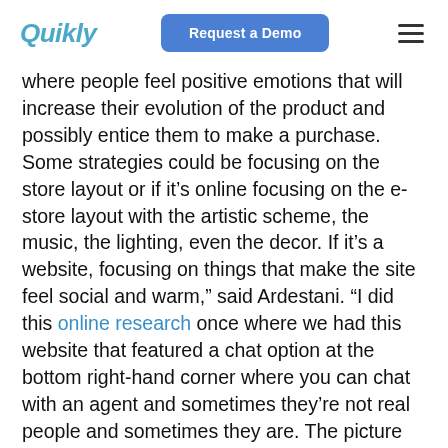Quikly | Request a Demo | [menu]
where people feel positive emotions that will increase their evolution of the product and possibly entice them to make a purchase. Some strategies could be focusing on the store layout or if it’s online focusing on the e-store layout with the artistic scheme, the music, the lighting, even the decor. If it’s a website, focusing on things that make the site feel social and warm,” said Ardestani. “I did this online research once where we had this website that featured a chat option at the bottom right-hand corner where you can chat with an agent and sometimes they’re not real people and sometimes they are. The picture icon that appeared on the screen was